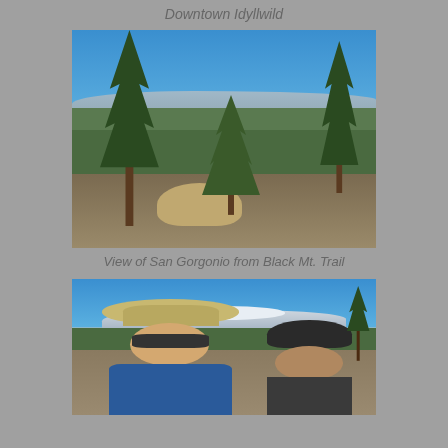Downtown Idyllwild
[Figure (photo): View from a mountain trail with tall pine trees in the foreground, rocky terrain, and a mountain range (San Gorgonio) visible in the background under a clear blue sky.]
View of San Gorgonio from Black Mt. Trail
[Figure (photo): Selfie of two hikers on the Black Mountain Trail with pine trees and a mountain range visible in the background under a blue sky.]